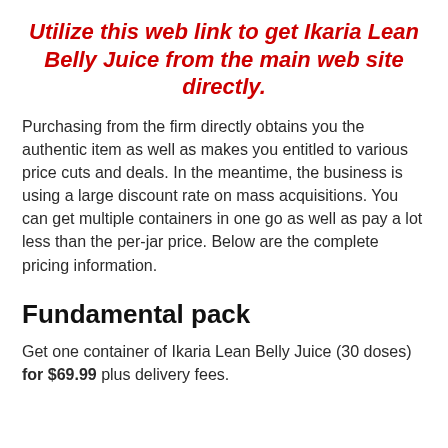Utilize this web link to get Ikaria Lean Belly Juice from the main web site directly.
Purchasing from the firm directly obtains you the authentic item as well as makes you entitled to various price cuts and deals. In the meantime, the business is using a large discount rate on mass acquisitions. You can get multiple containers in one go as well as pay a lot less than the per-jar price. Below are the complete pricing information.
Fundamental pack
Get one container of Ikaria Lean Belly Juice (30 doses) for $69.99 plus delivery fees.